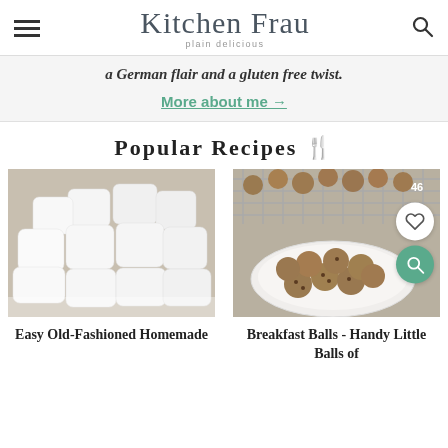Kitchen Frau - plain delicious
a German flair and a gluten free twist.
More about me →
Popular Recipes 🍴
[Figure (photo): Homemade marshmallows cut into white cubes piled on a surface dusted with powdered sugar]
[Figure (photo): Breakfast balls - round oat and chocolate chip balls on a white plate and cooling rack, with heart and search overlay icons]
Easy Old-Fashioned Homemade
Breakfast Balls - Handy Little Balls of